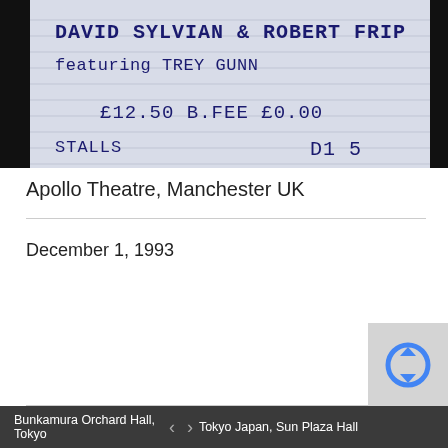[Figure (photo): Photograph of a concert ticket stub for David Sylvian & Robert Fripp featuring Trey Gunn. Ticket shows £12.50 price, B.FEE £0.00, STALLS section. The ticket appears printed on light blue lined paper with dark blue dot-matrix text.]
Apollo Theatre, Manchester UK
December 1, 1993
Bunkamura Orchard Hall, Tokyo   <   >   Tokyo Japan, Sun Plaza Hall